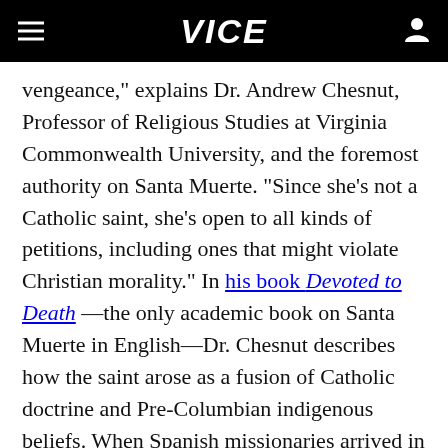VICE
vengeance," explains Dr. Andrew Chesnut, Professor of Religious Studies at Virginia Commonwealth University, and the foremost authority on Santa Muerte. "Since she's not a Catholic saint, she's open to all kinds of petitions, including ones that might violate Christian morality." In his book Devoted to Death—the only academic book on Santa Muerte in English—Dr. Chesnut describes how the saint arose as a fusion of Catholic doctrine and Pre-Columbian indigenous beliefs. When Spanish missionaries arrived in Latin America, they used the Spanish symbol of the Grim Reaperess—known as La Parca—as a way to represent the